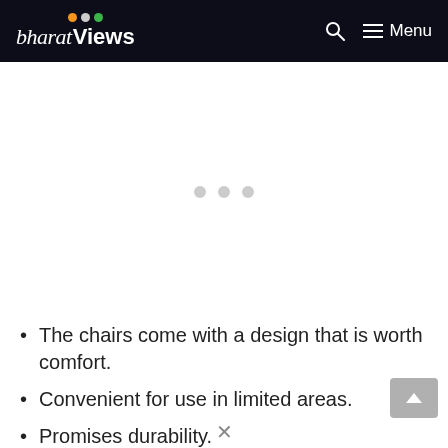bharatViews  [search icon]  ≡ Menu
[Figure (other): Advertisement placeholder area with three grey dots in the center]
The chairs come with a design that is worth comfort.
Convenient for use in limited areas.
Promises durability.
Pre-assembled.